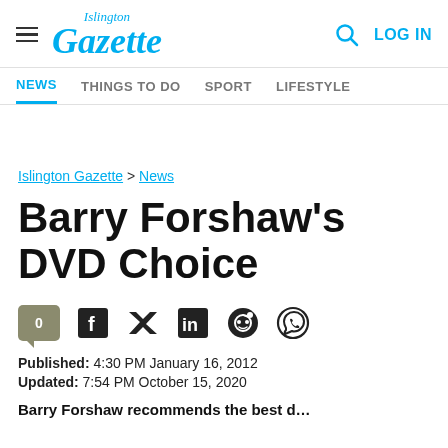Islington Gazette — NEWS | THINGS TO DO | SPORT | LIFESTYLE | LOG IN
Islington Gazette > News
Barry Forshaw's DVD Choice
Published: 4:30 PM January 16, 2012
Updated: 7:54 PM October 15, 2020